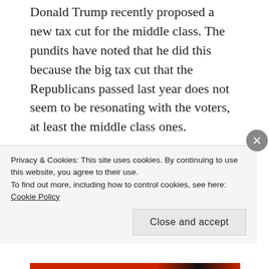Donald Trump recently proposed a new tax cut for the middle class. The pundits have noted that he did this because the big tax cut that the Republicans passed last year does not seem to be resonating with the voters, at least the middle class ones.
They are missing the point.
Trump is openly admitting that last year's tax cut was really for the corporations and the wealthy.
It should be an easy point for the Democrats to make.
Privacy & Cookies: This site uses cookies. By continuing to use this website, you agree to their use.
To find out more, including how to control cookies, see here: Cookie Policy
Close and accept